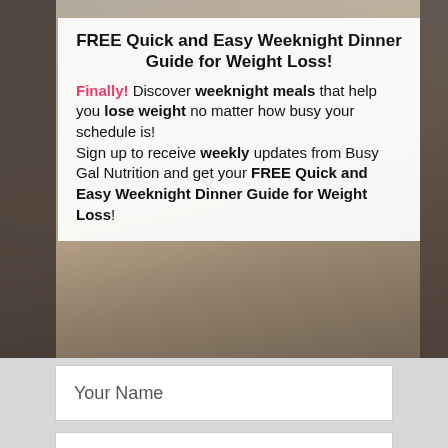FREE Quick and Easy Weeknight Dinner Guide for Weight Loss!
Finally! Discover weeknight meals that help you lose weight no matter how busy your schedule is! Sign up to receive weekly updates from Busy Gal Nutrition and get your FREE Quick and Easy Weeknight Dinner Guide for Weight Loss!
[Figure (photo): Background photo of a woman with a golden dog, semi-transparent white overlay with form content]
Your Name
Your Email
Get Free Access